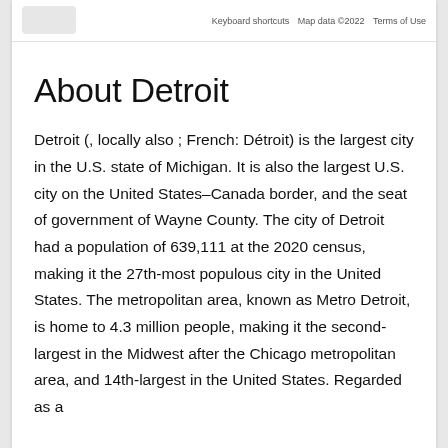Keyboard shortcuts   Map data ©2022   Terms of Use
About Detroit
Detroit (, locally also ; French: Détroit) is the largest city in the U.S. state of Michigan. It is also the largest U.S. city on the United States–Canada border, and the seat of government of Wayne County. The city of Detroit had a population of 639,111 at the 2020 census, making it the 27th-most populous city in the United States. The metropolitan area, known as Metro Detroit, is home to 4.3 million people, making it the second-largest in the Midwest after the Chicago metropolitan area, and 14th-largest in the United States. Regarded as a